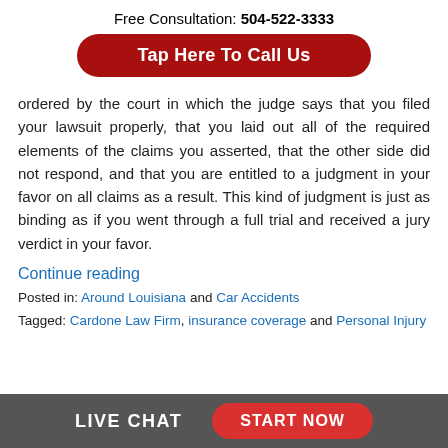Free Consultation: 504-522-3333
Tap Here To Call Us
ordered by the court in which the judge says that you filed your lawsuit properly, that you laid out all of the required elements of the claims you asserted, that the other side did not respond, and that you are entitled to a judgment in your favor on all claims as a result. This kind of judgment is just as binding as if you went through a full trial and received a jury verdict in your favor.
Continue reading
Posted in: Around Louisiana and Car Accidents
Tagged: Cardone Law Firm, insurance coverage and Personal Injury
LIVE CHAT   START NOW